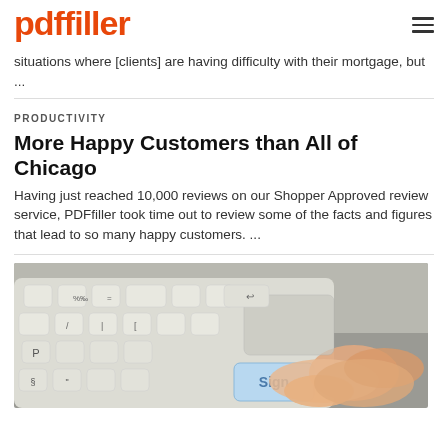pdffiller
situations where [clients] are having difficulty with their mortgage, but ...
PRODUCTIVITY
More Happy Customers than All of Chicago
Having just reached 10,000 reviews on our Shopper Approved review service, PDFfiller took time out to review some of the facts and figures that lead to so many happy customers. ...
[Figure (photo): Close-up photo of a person pressing a keyboard key labeled 'Sign', viewed from the side. The keyboard has white/light grey keys on a silver surface.]